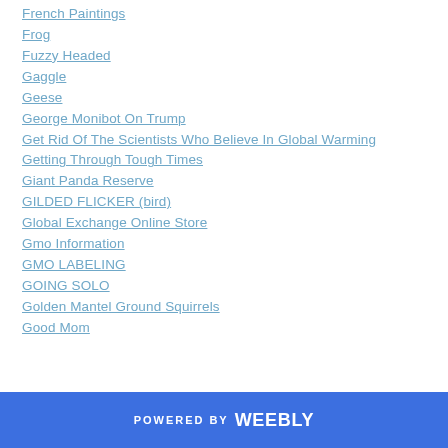French Paintings
Frog
Fuzzy Headed
Gaggle
Geese
George Monibot On Trump
Get Rid Of The Scientists Who Believe In Global Warming
Getting Through Tough Times
Giant Panda Reserve
GILDED FLICKER (bird)
Global Exchange Online Store
Gmo Information
GMO LABELING
GOING SOLO
Golden Mantel Ground Squirrels
Good Mom
POWERED BY weebly